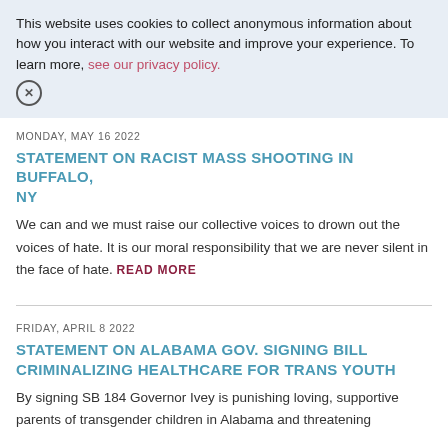This website uses cookies to collect anonymous information about how you interact with our website and improve your experience. To learn more, see our privacy policy.
MONDAY, MAY 16 2022
STATEMENT ON RACIST MASS SHOOTING IN BUFFALO, NY
We can and we must raise our collective voices to drown out the voices of hate. It is our moral responsibility that we are never silent in the face of hate. READ MORE
FRIDAY, APRIL 8 2022
STATEMENT ON ALABAMA GOV. SIGNING BILL CRIMINALIZING HEALTHCARE FOR TRANS YOUTH
By signing SB 184 Governor Ivey is punishing loving, supportive parents of transgender children in Alabama and threatening